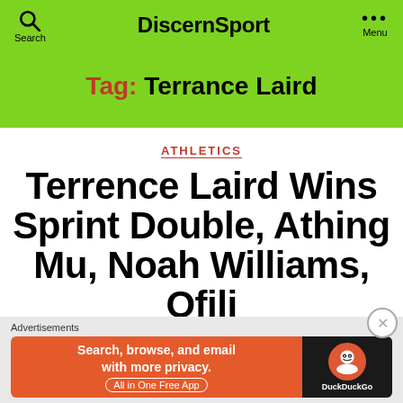DiscernSport
Tag: Terrance Laird
ATHLETICS
Terrance Laird Wins Sprint Double, Athing Mu, Noah Williams, Ofili
Advertisements
[Figure (other): DuckDuckGo advertisement banner: Search, browse, and email with more privacy. All in One Free App. DuckDuckGo logo on dark background.]